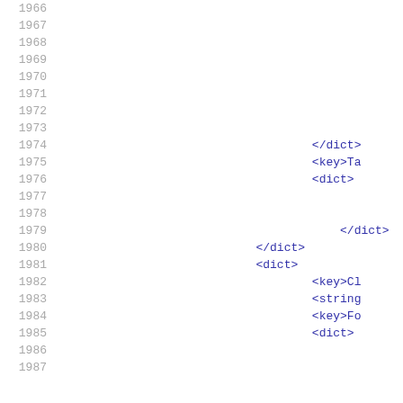1966
1967
1968
1969
1970
1971
1972
1973
1974  </dict>
1975  <key>Ta
1976  <dict>
1977
1978
1979          </dict>
1980  </dict>
1981  <dict>
1982          <key>Cl
1983          <string
1984          <key>Fo
1985          <dict>
1986
1987